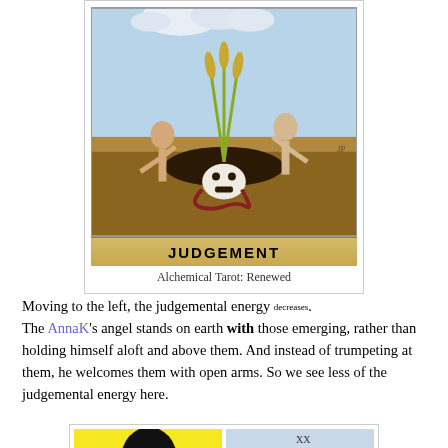[Figure (illustration): Tarot card image: JUDGEMENT card from Alchemical Tarot: Renewed. Shows figures rising from a skull with wheat stalks growing, golden background label at bottom.]
Alchemical Tarot: Renewed
Moving to the left, the judgemental energy decreases. The AnnaK's angel stands on earth with those emerging, rather than holding himself aloft and above them. And instead of trumpeting at them, he welcomes them with open arms. So we see less of the judgemental energy here.
[Figure (illustration): Two tarot cards shown side by side at the bottom of the page, partially visible. Left card has bright yellow background with dark figure, right card shows angel/winged figure labeled XX.]